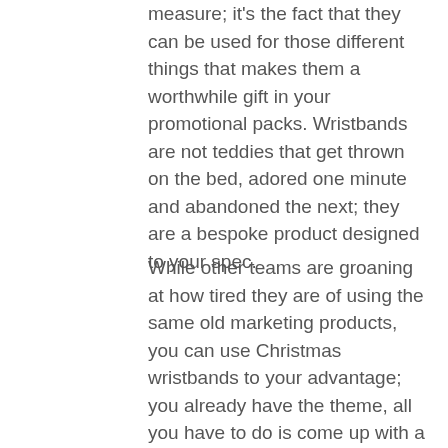measure; it's the fact that they can be used for those different things that makes them a worthwhile gift in your promotional packs. Wristbands are not teddies that get thrown on the bed, adored one minute and abandoned the next; they are a bespoke product designed to your spec.
While other teams are groaning at how tired they are of using the same old marketing products, you can use Christmas wristbands to your advantage; you already have the theme, all you have to do is come up with a concept and a snazzy sales pitch.